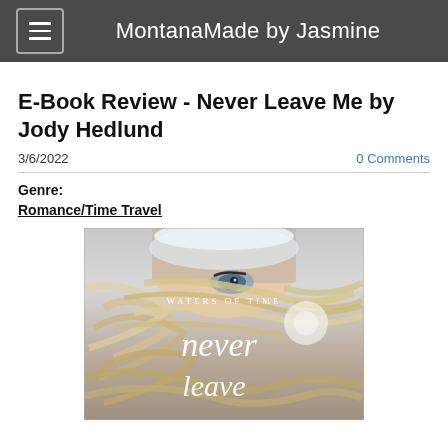MontanaMade by Jasmine
E-Book Review - Never Leave Me by Jody Hedlund
3/6/2022
0 Comments
Genre:
Romance/Time Travel
[Figure (illustration): Book cover for 'Never Leave Me' by Jody Hedlund, part of the Waters of Time series. Shows a woman's face partially obscured by windblown blonde hair, with the text 'WATERS OF TIME' and cursive 'Never Leave Me' in white on the cover.]